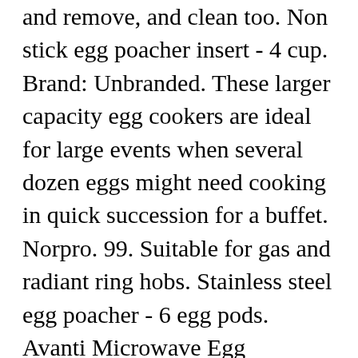and remove, and clean too. Non stick egg poacher insert - 4 cup. Brand: Unbranded. These larger capacity egg cookers are ideal for large events when several dozen eggs might need cooking in quick succession for a buffet. Norpro. 99. Suitable for gas and radiant ring hobs. Stainless steel egg poacher - 6 egg pods. Avanti Microwave Egg Poachers Set of 2 Add To Cart View Detail. Not sure how long to poach an egg for? 4.1 out of 5 stars 326. Always read label. Nothing could be simpler, in theory: Crack an egg, slide it into gently simmering water and wait as it coagulates. Shop for egg poachers at Bed Bath and Beyond Canada. Creative Cartoon Ceramic Egg Yolk and Egg White Separator